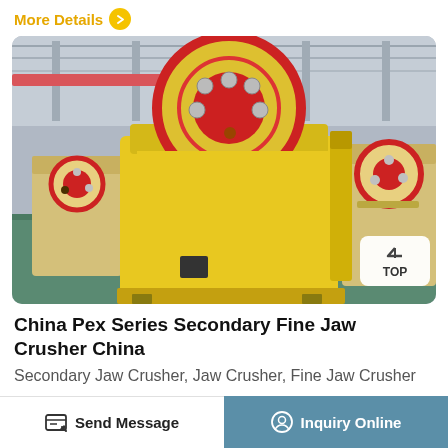More Details >
[Figure (photo): Industrial jaw crusher machine in a factory setting. The machine is predominantly yellow with a large red circular flywheel on top. Multiple similar machines are visible in the background on a green factory floor.]
China Pex Series Secondary Fine Jaw Crusher China
Secondary Jaw Crusher, Jaw Crusher, Fine Jaw Crusher
Send Message
Inquiry Online